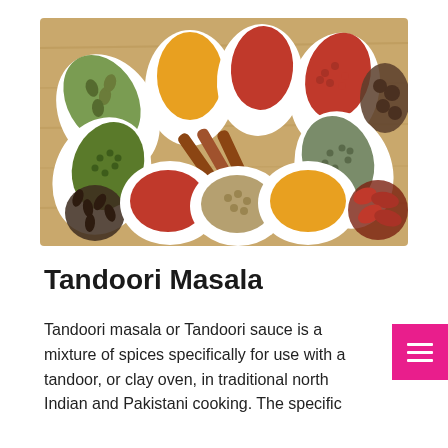[Figure (photo): Arrangement of various Indian/Pakistani spices in white ceramic spoons on a wooden surface, including turmeric, red chili powder, red peppercorns, cinnamon sticks, green cardamom, cloves, coriander seeds, and more.]
Tandoori Masala
Tandoori masala or Tandoori sauce is a mixture of spices specifically for use with a tandoor, or clay oven, in traditional north Indian and Pakistani cooking. The specific